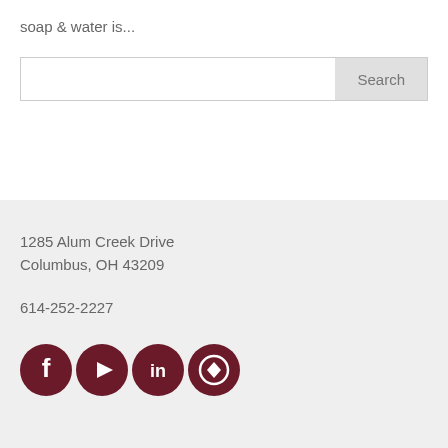soap & water is...
[Figure (screenshot): Search bar with text input field and Search button]
1285 Alum Creek Drive
Columbus, OH 43209
614-252-2227
[Figure (infographic): Four dark red social media icons: Facebook, YouTube, LinkedIn, and a custom logo icon]